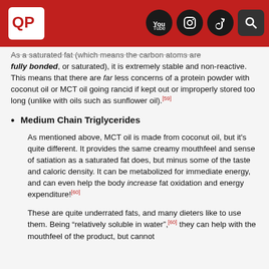Header with logo and social media icons (YouTube, Instagram, TikTok, Search)
As a saturated fat (which means the carbon atoms are fully bonded, or saturated), it is extremely stable and non-reactive. This means that there are far less concerns of a protein powder with coconut oil or MCT oil going rancid if kept out or improperly stored too long (unlike with oils such as sunflower oil).[59]
Medium Chain Triglycerides
As mentioned above, MCT oil is made from coconut oil, but it's quite different. It provides the same creamy mouthfeel and sense of satiation as a saturated fat does, but minus some of the taste and caloric density. It can be metabolized for immediate energy, and can even help the body increase fat oxidation and energy expenditure![60]
These are quite underrated fats, and many dieters like to use them. Being "relatively soluble in water",[60] they can help with the mouthfeel of the product, but cannot